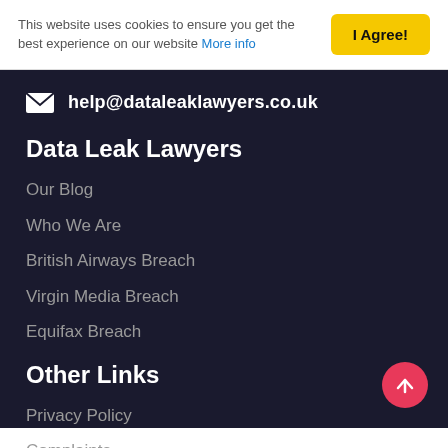This website uses cookies to ensure you get the best experience on our website More info
I Agree!
help@dataleaklawyers.co.uk
Data Leak Lawyers
Our Blog
Who We Are
British Airways Breach
Virgin Media Breach
Equifax Breach
Other Links
Privacy Policy
Complaints
Cookies